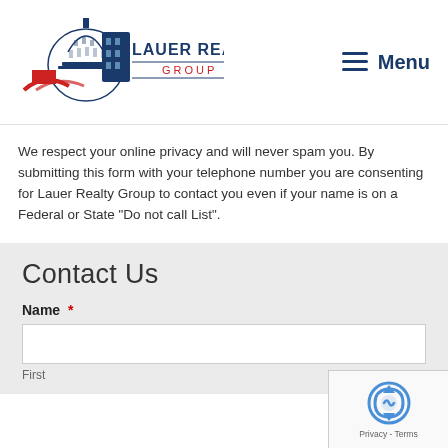[Figure (logo): Lauer Realty Group logo with capitol building dome and house graphic in red and blue, with text 'LAUER REALTY GROUP']
Menu
We respect your online privacy and will never spam you. By submitting this form with your telephone number you are consenting for Lauer Realty Group to contact you even if your name is on a Federal or State "Do not call List".
Contact Us
Name *
First
[Figure (other): reCAPTCHA widget with circular arrows icon and Privacy - Terms footer text]